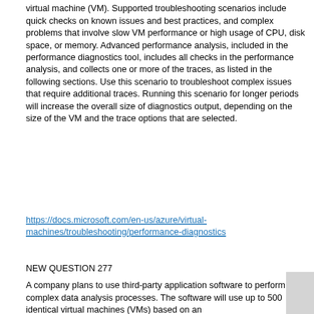virtual machine (VM). Supported troubleshooting scenarios include quick checks on known issues and best practices, and complex problems that involve slow VM performance or high usage of CPU, disk space, or memory. Advanced performance analysis, included in the performance diagnostics tool, includes all checks in the performance analysis, and collects one or more of the traces, as listed in the following sections. Use this scenario to troubleshoot complex issues that require additional traces. Running this scenario for longer periods will increase the overall size of diagnostics output, depending on the size of the VM and the trace options that are selected.
https://docs.microsoft.com/en-us/azure/virtual-machines/troubleshooting/performance-diagnostics
NEW QUESTION 277
A company plans to use third-party application software to perform complex data analysis processes. The software will use up to 500 identical virtual machines (VMs) based on an